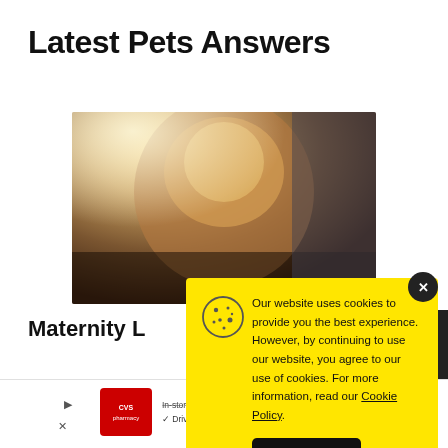Latest Pets Answers
[Figure (photo): Blurred photo of a dog's head/face with warm backlighting, showing a bokeh background effect.]
Maternity L
[Figure (screenshot): CVS Pharmacy advertisement with icons for In-store shopping, Drive-through, and Delivery]
Our website uses cookies to provide you the best experience. However, by continuing to use our website, you agree to our use of cookies. For more information, read our Cookie Policy.
Accept